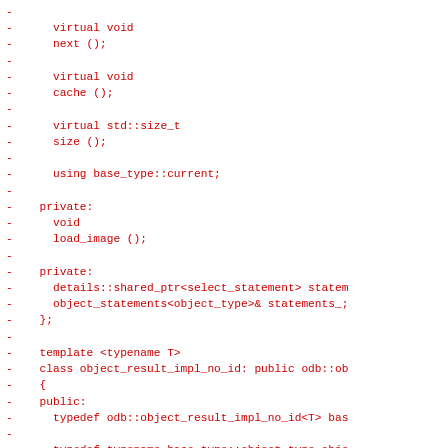diff/code block showing removed lines (prefixed with -) of C++ code including virtual void next(), virtual void cache(), virtual std::size_t size(), using base_type::current, private: void load_image(), private: details::shared_ptr<select_statement> statem... object_statements<object_type>& statements_;  }; template <typename T> class object_result_impl_no_id: public odb::ob { public: typedef odb::object_result_impl_no_id<T> bas... typedef typename base_type::object_type obje... typedef typename base_type::object_traits ob...